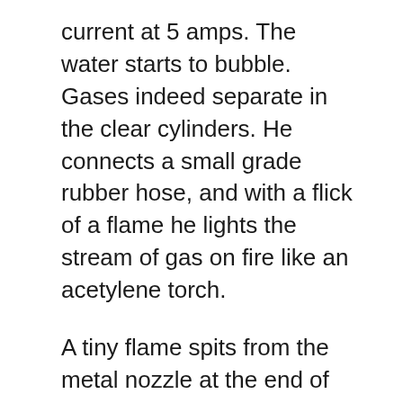current at 5 amps. The water starts to bubble. Gases indeed separate in the clear cylinders. He connects a small grade rubber hose, and with a flick of a flame he lights the stream of gas on fire like an acetylene torch.
A tiny flame spits from the metal nozzle at the end of the rubber hose. He focuses the flame on a plate of metal and slices through it like a jedi. Andrew explains that hydrogen flame behaves differently than other gases like propane or butane. For instance the jet nozzle is cool to the touch. Andrew lets me hold the nozzle and even though I can see the blue flame less than an inch from my fingers, the metal is cool enough to hold.